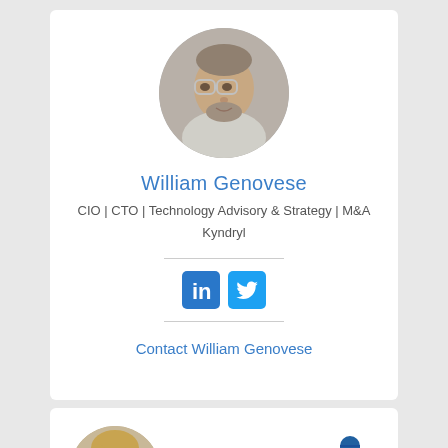[Figure (photo): Circular headshot of William Genovese, a middle-aged man with glasses and a beard, wearing a light shirt]
William Genovese
CIO | CTO | Technology Advisory & Strategy | M&A
Kyndryl
[Figure (logo): LinkedIn and Twitter social media icon buttons]
Contact William Genovese
[Figure (photo): Circular headshot of a woman with blonde hair, partially visible at bottom of page]
[Figure (illustration): Microphone icon in dark blue]